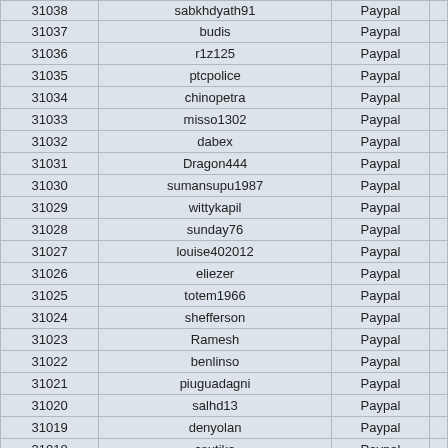| ID | Username | Payment |  |
| --- | --- | --- | --- |
| 31038 | sabkhdyath91 | Paypal |  |
| 31037 | budis | Paypal |  |
| 31036 | r1z125 | Paypal |  |
| 31035 | ptcpolice | Paypal |  |
| 31034 | chinopetra | Paypal |  |
| 31033 | misso1302 | Paypal |  |
| 31032 | dabex | Paypal |  |
| 31031 | Dragon444 | Paypal |  |
| 31030 | sumansupu1987 | Paypal |  |
| 31029 | wittykapil | Paypal |  |
| 31028 | sunday76 | Paypal |  |
| 31027 | louise402012 | Paypal |  |
| 31026 | eliezer | Paypal |  |
| 31025 | totem1966 | Paypal |  |
| 31024 | shefferson | Paypal |  |
| 31023 | Ramesh | Paypal |  |
| 31022 | benlinso | Paypal |  |
| 31021 | piuguadagni | Paypal |  |
| 31020 | salhd13 | Paypal |  |
| 31019 | denyolan | Paypal |  |
| 31018 | csutika | Paypal |  |
| 31017 | BrijTyagi | Paypal |  |
| 31016 | AbysmalSpecter | Paypal |  |
| 31014 | superrohadi | Paypal |  |
| 31013 | miniong27 | Paypal |  |
| 31012 | phslove | Paypal |  |
| 31011 | multimair | Paypal |  |